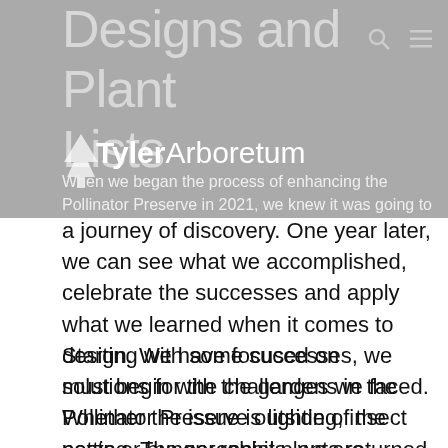Designs and Plant Lists — Tyler Arboretum
When we began the process of enhancing the Pollinator Preserve in 2021, we knew it was going to be a journey of discovery. One year later, we can see what we accomplished, celebrate the successes and apply what we learned when it comes to design. We have focused on solutions for the challenges we faced. Whether the issue is lighting, insect pests or hungry rabbits, we are making a few changes this year.
Starting with some successes, we must begin with the gardens in the Pollinator Preserve outside of the netting. The perennial plants returned larger and healthier this spring; some already needing to be divided one year later. Some of the plants visited most often by the pollinators seeking nectar were mountain